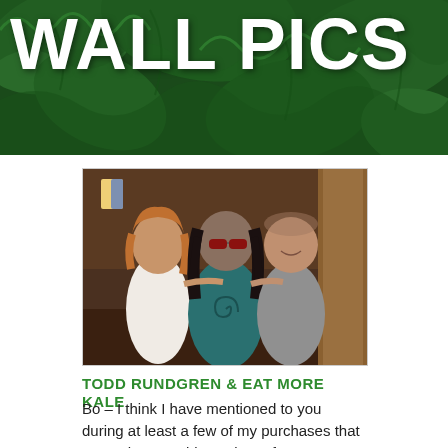WALL PICS
[Figure (photo): Three people posing together indoors: a woman with short hair on the left in a white top, a tall man in the center with long dark hair and sunglasses wearing a teal t-shirt with a spiral design, and a bald man on the right in a gray t-shirt.]
TODD RUNDGREN & EAT MORE KALE
Bo – I think I have mentioned to you during at least a few of my purchases that I am a huge Todd Rundgren fan